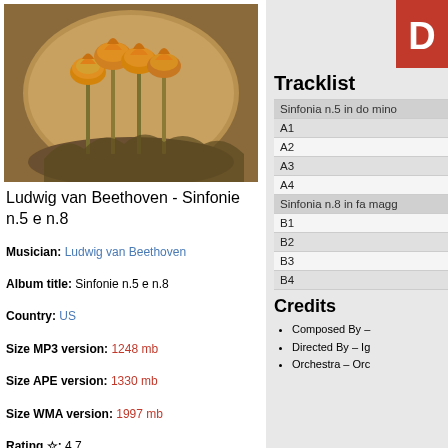[Figure (photo): Album art showing flowers (Fritillaria imperialis) in an oval frame against a brown/amber background]
Ludwig van Beethoven - Sinfonie n.5 e n.8
Musician: Ludwig van Beethoven
Album title: Sinfonie n.5 e n.8
Country: US
Size MP3 version: 1248 mb
Size APE version: 1330 mb
Size WMA version: 1997 mb
Rating ☆: 4.7
Votes: 508
Format: DMF ADX AHX MMF MP4 AUD AU
Genre: Classical
Tracklist
| Sinfonia n.5 in do mino |
| A1 |
| A2 |
| A3 |
| A4 |
| Sinfonia n.8 in fa magg |
| B1 |
| B2 |
| B3 |
| B4 |
Credits
Composed By –
Directed By – Ig
Orchestra – Orc